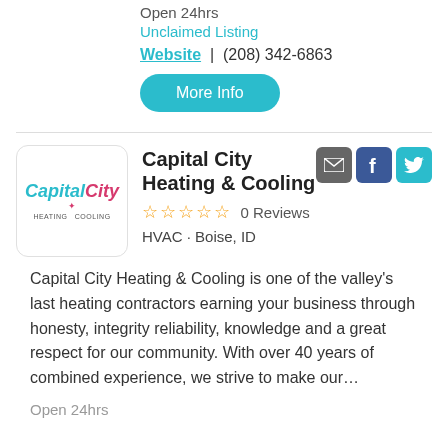Open 24hrs
Unclaimed Listing
Website | (208) 342-6863
More Info
[Figure (logo): Capital City Heating & Cooling company logo]
Capital City Heating & Cooling
0 Reviews
HVAC · Boise, ID
Capital City Heating & Cooling is one of the valley's last heating contractors earning your business through honesty, integrity reliability, knowledge and a great respect for our community. With over 40 years of combined experience, we strive to make our…
Open 24hrs